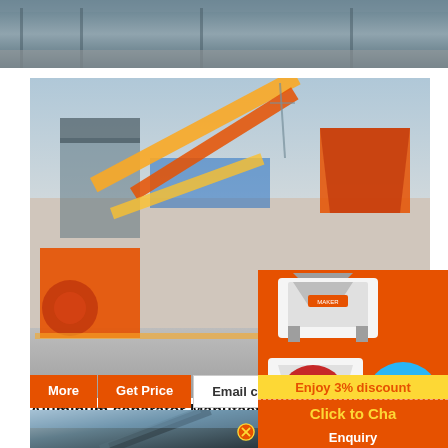[Figure (photo): Top cropped industrial facility photo strip showing steel structures and equipment against sky]
[Figure (photo): Large industrial crushing/mining plant with orange conveyor belts, machinery, and hopper equipment on a construction site]
Aluminum separator Manufacturers Su...
aluminum separator manufacturer/supplier, China aluminum separator manufacturer factory list, find qualified Chinese manufacturers, suppliers, factories, exporters w... Made-in-China.
[Figure (photo): Orange sidebar advertisement panel showing industrial crushing/grinding machine equipment images with blue circle accent]
Enjoy 3% discount
Click to Chat
Enquiry
[Figure (photo): Bottom cropped photo of industrial equipment – crane or conveyor structure against blue sky]